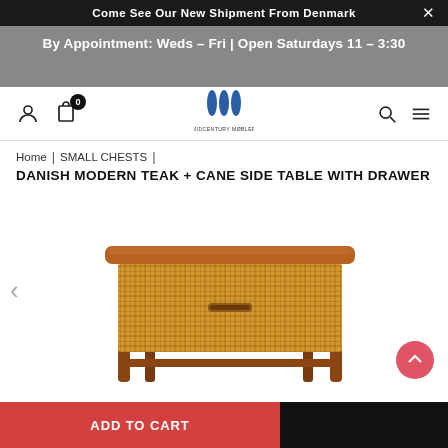Come See Our New Shipment From Denmark
By Appointment: Weds – Fri | Open Saturdays 11 – 3:30
[Figure (logo): Midcentury Møbler logo with three stylized blue diamond/leaf shapes above the text MIDCENTURYMØBLER]
Home | SMALL CHESTS |
DANISH MODERN TEAK + CANE SIDE TABLE WITH DRAWER
[Figure (photo): A Danish modern teak and cane side table with a single large woven cane drawer, teak top with rounded edges, and four straight teak legs]